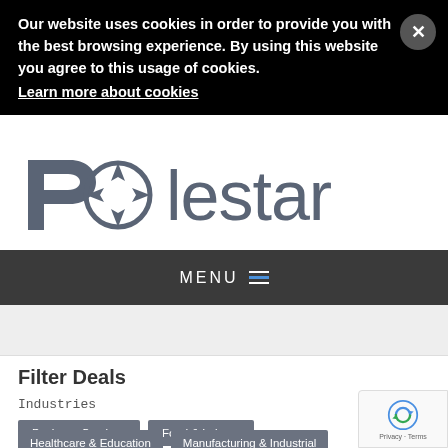Our website uses cookies in order to provide you with the best browsing experience. By using this website you agree to this usage of cookies.
Learn more about cookies
[Figure (logo): Polestar company logo with compass/star symbol replacing the letter O]
MENU ☰
Filter Deals
Industries
Business Services
Food & Leisure
Healthcare & Education
Manufacturing & Industrial